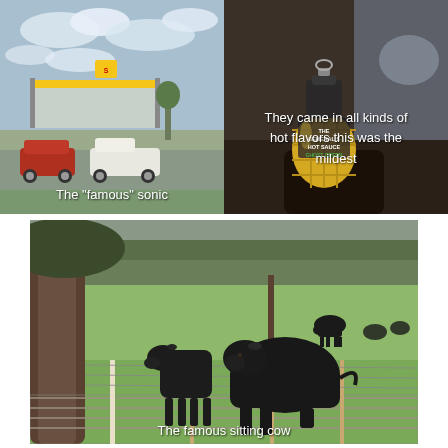[Figure (photo): A Sonic Drive-In restaurant with a parking lot, cars (red SUV, white pickup), overcast sky with clouds. Caption overlay: The "famous" sonic]
[Figure (photo): A bottle of The General's Hot Sauce Ghost Green flavor shaped like a grenade, sitting in a car cupholder. Caption overlay: They came in all kinds of hot flavors this was the mildest]
[Figure (photo): Black Angus cattle in a green grassy field behind a wire fence with a tree on left. One large cow is sitting down. Caption overlay: The famous sitting cow]